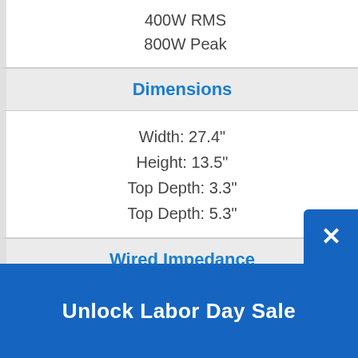400W RMS
800W Peak
Dimensions
Width: 27.4"
Height: 13.5"
Top Depth: 3.3"
Top Depth: 5.3"
Wired Impedance
1 Ohms
Features
Unlock Labor Day Sale